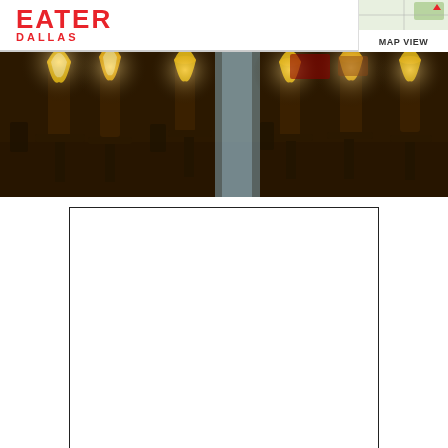EATER DALLAS
MAP VIEW
[Figure (photo): Interior of a restaurant with warm glowing pillar candles/torches on tables, dark ambiance, chairs visible in background]
[Figure (other): Empty white advertisement or content placeholder box with black border]